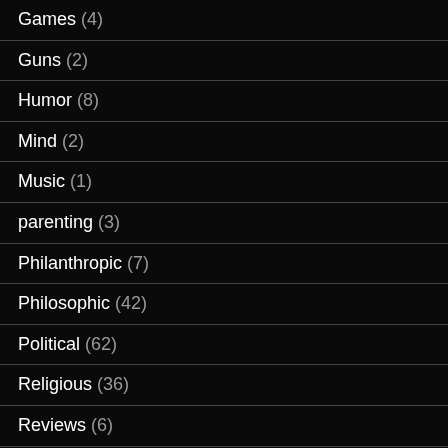Games (4)
Guns (2)
Humor (8)
Mind (2)
Music (1)
parenting (3)
Philanthropic (7)
Philosophic (42)
Political (62)
Religious (36)
Reviews (6)
Running (2)
Soccer (2)